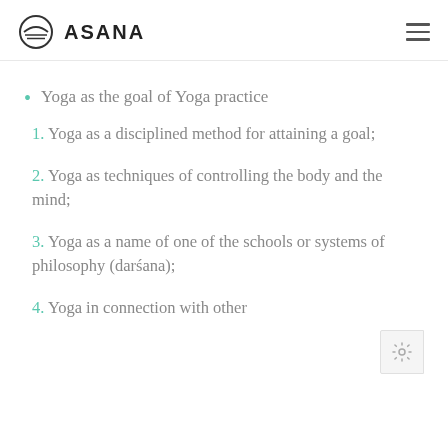ASANA
Yoga as the goal of Yoga practice
1. Yoga as a disciplined method for attaining a goal;
2.  Yoga as techniques of controlling the body and the mind;
3. Yoga as a name of one of the schools or systems of philosophy (darśana);
4. Yoga in connection with other